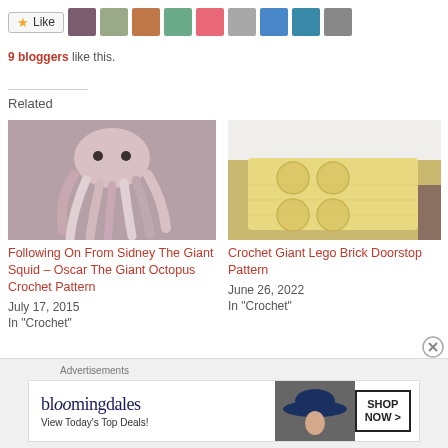[Figure (other): Like button with star icon and avatars of 9 bloggers who liked this post]
9 bloggers like this.
Related
[Figure (photo): Photo of a crocheted octopus with pink and white tentacles]
Following On From Sidney The Giant Squid – Oscar The Giant Octopus Crochet Pattern
July 17, 2015
In "Crochet"
[Figure (photo): Photo of a crocheted yellow Lego brick doorstop]
Crochet Giant Lego Brick Doorstop Pattern
June 26, 2022
In "Crochet"
Advertisements
[Figure (other): Bloomingdales advertisement banner: View Today's Top Deals! SHOP NOW >]